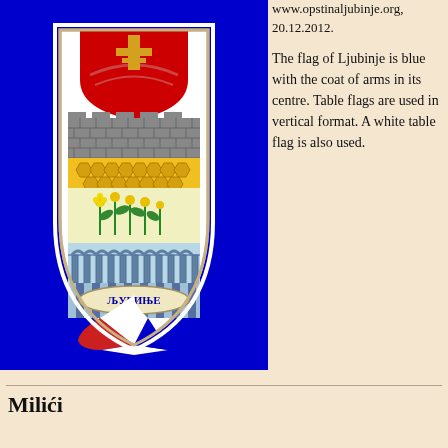[Figure (photo): Flag of Ljubinje municipality — blue background with the coat of arms centered. The coat of arms is shield-shaped featuring: a red semicircle with a golden cross at top, a grey stone wall/battlements, a yellow honeycomb pattern, a cream section with green flowering plants, an aqueduct/arches in light blue, vertical blue stripes, a scroll reading 'ЉУБИЊЕ' in Cyrillic, and a fan-shaped bottom with red, white, and blue segments.]
www.opstinaljubinje.org, 20.12.2012.
The flag of Ljubinje is blue with the coat of arms in its centre. Table flags are used in vertical format. A white table flag is also used.
Milići